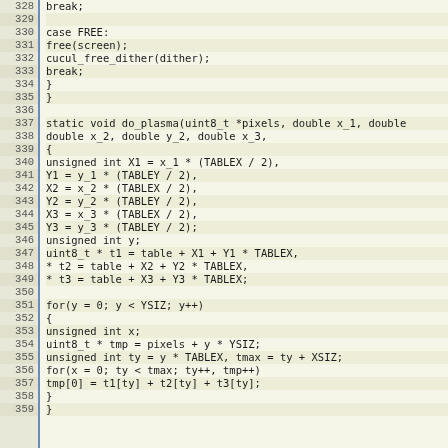Source code listing lines 328-359 showing C code for do_plasma function with case FREE, free(screen), cucul_free_dither(dither), break, static void do_plasma, unsigned int variables X1 Y1 X2 Y2 X3 Y3, uint8_t pointers t1 t2 t3, for loops with y and x iterating over YSIZ and tmax.